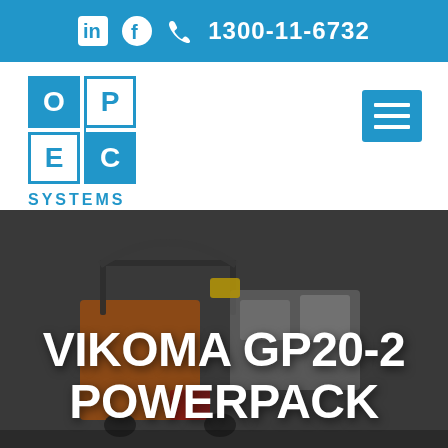1300-11-6732
[Figure (logo): OPEC Systems logo — 2x2 blue grid with letters O, P, E, C and SYSTEMS text below]
[Figure (photo): Photograph of Vikoma GP20-2 Powerpack industrial machinery on ground, shown with orange and black components, partially darkened/overlayed]
VIKOMA GP20-2 POWERPACK